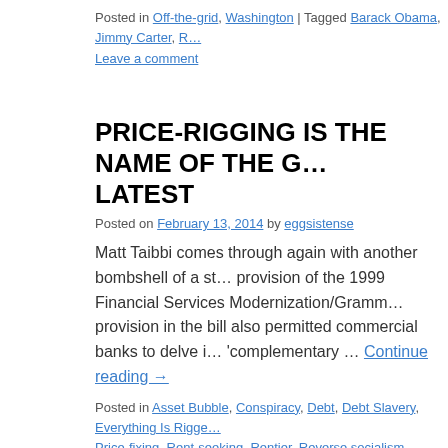Posted in Off-the-grid, Washington | Tagged Barack Obama, Jimmy Carter, R… Leave a comment
PRICE-RIGGING IS THE NAME OF THE G… LATEST
Posted on February 13, 2014 by eggsistense
Matt Taibbi comes through again with another bombshell of a st… provision of the 1999 Financial Services Modernization/Gramm… provision in the bill also permitted commercial banks to delve i… 'complementary … Continue reading →
Posted in Asset Bubble, Conspiracy, Debt, Debt Slavery, Everything Is Rigge… Price-fixing, Rent-seeking, Rentier, Reverse socialism, Wealth transfer | Tagg… california, Easter Bunny, Financial Services Modernization Act, Financial Sys… Phil Gramm, pricing, rent-seeking, Rentier, Stanley Druckenmiller, Tooth Fairy…
Rocket Docket? Is it Time to Sue the Syst…
Posted on February 13, 2014 by eggsistense